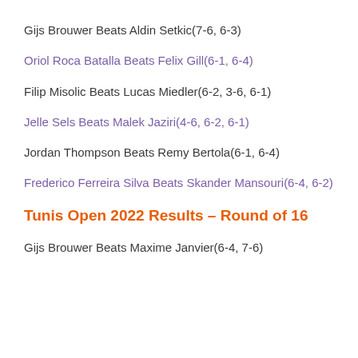Gijs Brouwer Beats Aldin Setkic(7-6, 6-3)
Oriol Roca Batalla Beats Felix Gill(6-1, 6-4)
Filip Misolic Beats Lucas Miedler(6-2, 3-6, 6-1)
Jelle Sels Beats Malek Jaziri(4-6, 6-2, 6-1)
Jordan Thompson Beats Remy Bertola(6-1, 6-4)
Frederico Ferreira Silva Beats Skander Mansouri(6-4, 6-2)
Tunis Open 2022 Results – Round of 16
Gijs Brouwer Beats Maxime Janvier(6-4, 7-6)